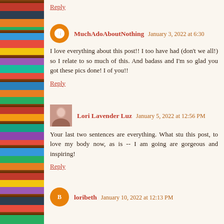Reply
MuchAdoAboutNothing January 3, 2022 at 6:30
I love everything about this post!! I too have had (don't we all!) so I relate to so much of this. And badass and I'm so glad you got these pics done! I of you!!
Reply
Lori Lavender Luz January 5, 2022 at 12:56 PM
Your last two sentences are everything. What stu this post, to love my body now, as is -- I am going are gorgeous and inspiring!
Reply
loribeth January 10, 2022 at 12:13 PM